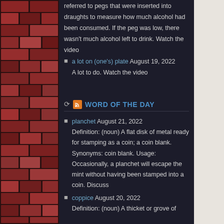[Figure (photo): Brick wall texture sidebar on left side of page]
referred to pegs that were inserted into draughts to measure how much alcohol had been consumed. If the peg was low, there wasn't much alcohol left to drink. Watch the video
a lot on (one's) plate August 19, 2022 A lot to do. Watch the video
WORD OF THE DAY
planchet August 21, 2022 Definition: (noun) A flat disk of metal ready for stamping as a coin; a coin blank. Synonyms: coin blank. Usage: Occasionally, a planchet will escape the mint without having been stamped into a coin. Discuss
coppice August 20, 2022 Definition: (noun) A thicket or grove of